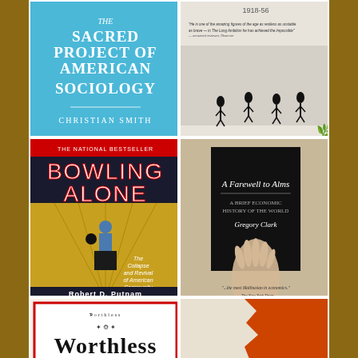[Figure (photo): Book cover: 'The Sacred Project of American Sociology' by Christian Smith - light blue cover with white text]
[Figure (photo): Book cover showing people walking in snow, dated 1918-56, with quote about 'the amazing figure of the age']
[Figure (photo): Book cover: 'Bowling Alone: The Collapse and Revival of American Community' by Robert D. Putnam - national bestseller with bowling alley imagery]
[Figure (photo): Book cover: 'A Farewell to Alms: A Brief Economic History of the World' by Gregory Clark - dark cover with hand imagery]
[Figure (photo): Book cover: 'Worthless' - Copyright 2011 with old-style decorative lettering]
[Figure (photo): Book cover: partially visible orange/red book cover]